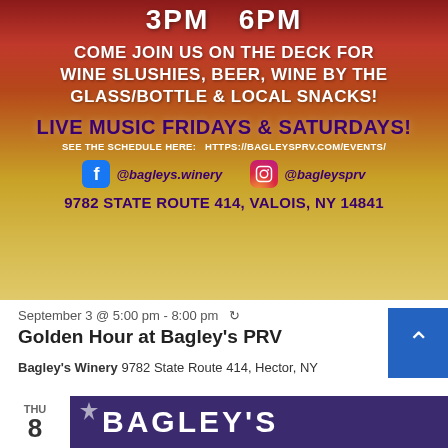[Figure (illustration): Bagley's PRV event advertisement banner with gradient red/brown to gold background, showing text about Golden Hour event: times 3PM-6PM (partially cropped), invitation to join on the deck for wine slushies, beer, wine by the glass/bottle and local snacks. Live music Fridays and Saturdays. Schedule URL https://bagleysprv.com/events/. Facebook @bagleys.winery and Instagram @bagleysprv social handles. Address 9782 State Route 414, Valois, NY 14841.]
September 3 @ 5:00 pm - 8:00 pm  🔄
Golden Hour at Bagley's PRV
Bagley's Winery 9782 State Route 414, Hector, NY
[Figure (illustration): Partial bottom banner showing THU 8 label on left and purple/dark navy background with white text BAGLEY'S (partially visible) on right.]